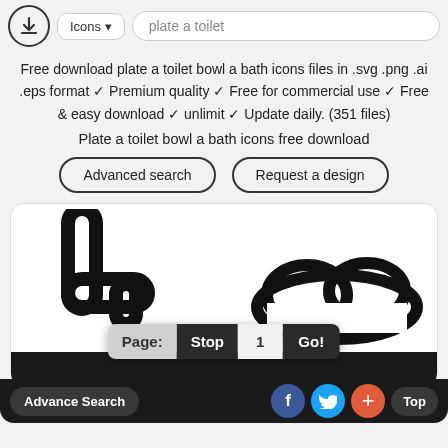[Figure (screenshot): Top navigation bar with download icon, Icons dropdown, and search field showing 'plate a toilet']
Free download plate a toilet bowl a bath icons files in .svg .png .ai .eps format ✓ Premium quality ✓ Free for commercial use ✓ Free & easy download ✓ unlimit ✓ Update daily. (351 files)
Plate a toilet bowl a bath icons free download
[Figure (screenshot): Two pill-shaped outline buttons: 'Advanced search' and 'Request a design']
[Figure (screenshot): White card showing partial faucet icon on left and cloud icon on right, with page navigation control (Page: Stop 1 Go!) overlaid, and black bottom bar with Advance Search button, social icons (Facebook, Twitter, plus), and Top button]